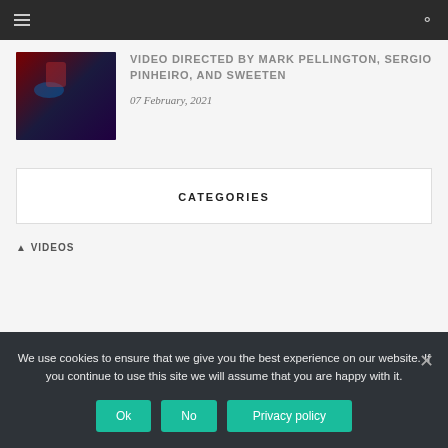Navigation bar with hamburger menu and search icon
[Figure (photo): Dark moody photo with red and blue lighting, person visible in background]
VIDEO DIRECTED BY MARK PELLINGTON, SERGIO PINHEIRO, AND SWEETEN
07 February, 2021
CATEGORIES
VIDEOS
We use cookies to ensure that we give you the best experience on our website. If you continue to use this site we will assume that you are happy with it.